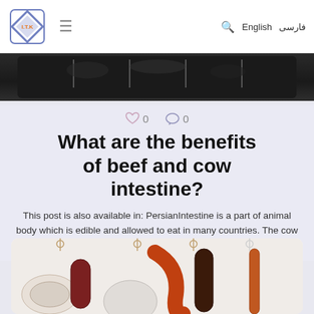I.T.K logo, hamburger menu, search icon, English, فارسی
[Figure (photo): Dark banner image showing hanging meat/hooks on dark background]
♡ 0   ○ 0
What are the benefits of beef and cow intestine?
This post is also available in: PersianIntestine is a part of animal body which is edible and allowed to eat in many countries. The cow intestine [...]
[Figure (photo): Various sausages and intestines hanging on hooks against white background]